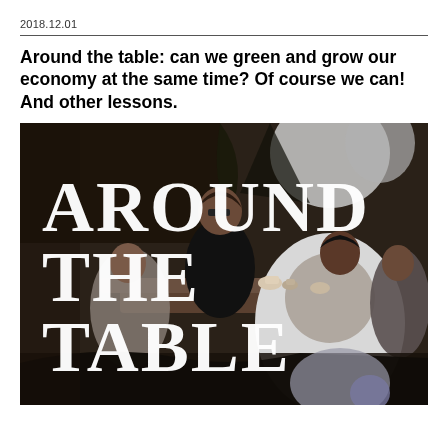2018.12.01
Around the table: can we green and grow our economy at the same time? Of course we can! And other lessons.
[Figure (illustration): Stylized/posterized illustration of people seated around a table in a cafe or restaurant, with the words AROUND THE TABLE overlaid in large white serif font. Dark tones with muted browns and grays.]